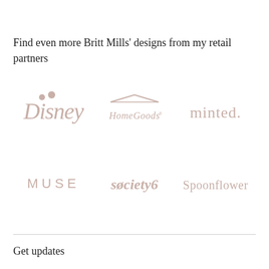Find even more Britt Mills' designs from my retail partners
[Figure (logo): Disney logo in muted rose/taupe color]
[Figure (logo): HomeGoods logo in muted rose/taupe color]
[Figure (logo): minted. logo in muted rose/taupe color]
[Figure (logo): MUSE logo in muted rose/taupe color]
[Figure (logo): søciety6 logo in muted rose/taupe color]
[Figure (logo): Spoonflower logo in muted rose/taupe color]
Get updates